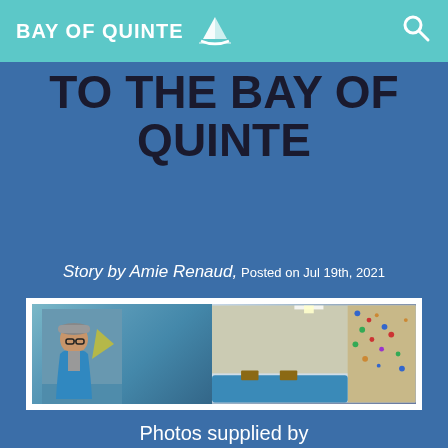BAY OF QUINTE
TO THE BAY OF QUINTE
Story by Amie Renaud, Posted on Jul 19th, 2021
[Figure (photo): Left: man wearing grey cap and blue jacket sitting in a climbing gym. Right: interior of a bouldering gym with colorful climbing holds on tall walls and blue crash pads on the floor.]
Photos supplied by